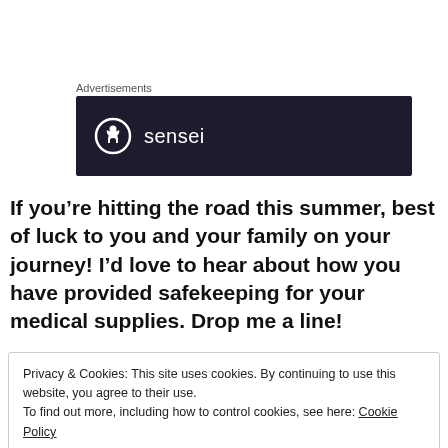Advertisements
[Figure (logo): Sensei brand logo on a dark navy/purple background. A white circle with a tree-person icon inside, followed by the text 'sensei' in white.]
If you’re hitting the road this summer, best of luck to you and your family on your journey! I’d love to hear about how you have provided safekeeping for your medical supplies. Drop me a line!
Privacy & Cookies: This site uses cookies. By continuing to use this website, you agree to their use.
To find out more, including how to control cookies, see here: Cookie Policy
Close and accept